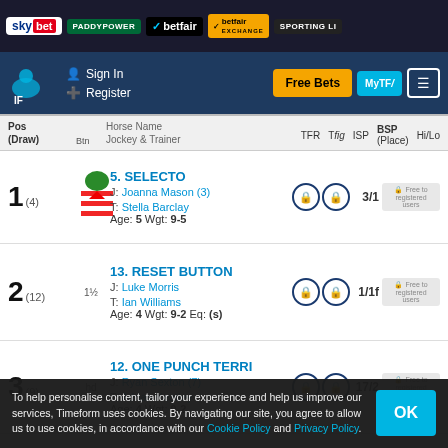[Figure (screenshot): Sky Bet logo in ad bar]
[Figure (screenshot): Paddy Power logo in ad bar]
[Figure (screenshot): Betfair logo in ad bar]
[Figure (screenshot): Betfair Exchange logo in ad bar]
Sign In  Register  Free Bets  MyTF  Menu
| Pos (Draw) | Btn | Horse Name / Jockey & Trainer | TFR | Tfig | ISP | BSP (Place) | Hi/Lo |
| --- | --- | --- | --- | --- | --- | --- | --- |
| 1 (4) |  | 5. SELECTO  J: Joanna Mason (3)  T: Stella Barclay  Age: 5 Wgt: 9-5 |  |  | 3/1 |  |  |
| 2 (12) | 1½ | 13. RESET BUTTON  J: Luke Morris  T: Ian Williams  Age: 4 Wgt: 9-2 Eq: (s) |  |  | 1/1f |  |  |
| 3 (9) | hd | 12. ONE PUNCH TERRI  J: Ryan Sexton (7)  T: Adrian Keatley  Age: 4 Wgt: 9-2 |  |  | 17/2 |  |  |
To help personalise content, tailor your experience and help us improve our services, Timeform uses cookies. By navigating our site, you agree to allow us to use cookies, in accordance with our Cookie Policy and Privacy Policy.